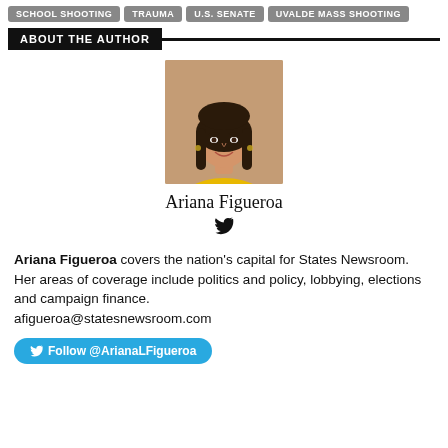SCHOOL SHOOTING
TRAUMA
U.S. SENATE
UVALDE MASS SHOOTING
ABOUT THE AUTHOR
[Figure (photo): Headshot photo of Ariana Figueroa, a woman with long dark hair wearing a yellow top]
Ariana Figueroa
Ariana Figueroa covers the nation's capital for States Newsroom. Her areas of coverage include politics and policy, lobbying, elections and campaign finance. afigueroa@statesnewsroom.com
Follow @ArianaLFigueroa